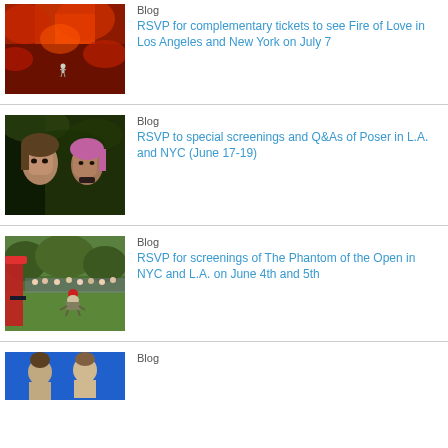[Figure (photo): Movie still from Fire of Love showing a tiny figure in a spacesuit against a massive red volcanic landscape]
Blog
RSVP for complementary tickets to see Fire of Love in Los Angeles and New York on July 7
[Figure (photo): Movie still from Poser showing two young women looking at camera against green background]
Blog
RSVP to special screenings and Q&As of Poser in L.A. and NYC (June 17-19)
[Figure (photo): Movie still from The Phantom of the Open showing a man crouching on a golf course with spectators and red umbrella]
Blog
RSVP for screenings of The Phantom of the Open in NYC and L.A. on June 4th and 5th
[Figure (photo): Movie still showing men on blue background]
Blog